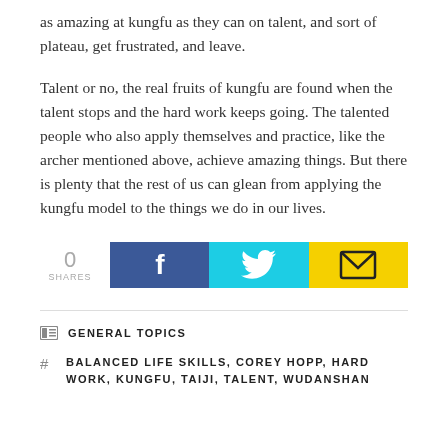as amazing at kungfu as they can on talent, and sort of plateau, get frustrated, and leave.
Talent or no, the real fruits of kungfu are found when the talent stops and the hard work keeps going. The talented people who also apply themselves and practice, like the archer mentioned above, achieve amazing things. But there is plenty that the rest of us can glean from applying the kungfu model to the things we do in our lives.
[Figure (infographic): Share count showing 0 SHARES, with three social sharing buttons: Facebook (dark blue with f icon), Twitter (cyan with bird icon), Email (yellow with envelope icon)]
GENERAL TOPICS
BALANCED LIFE SKILLS, COREY HOPP, HARD WORK, KUNGFU, TAIJI, TALENT, WUDANSHAN